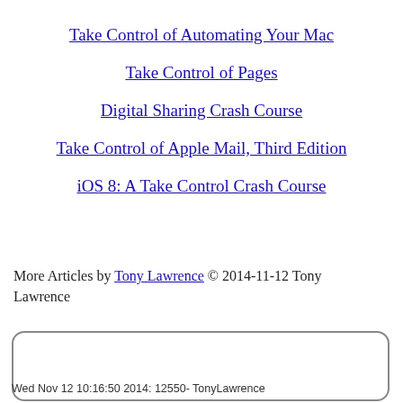Take Control of Automating Your Mac
Take Control of Pages
Digital Sharing Crash Course
Take Control of Apple Mail, Third Edition
iOS 8: A Take Control Crash Course
More Articles by Tony Lawrence © 2014-11-12 Tony Lawrence
Wed Nov 12 10:16:50 2014: 12550- TonyLawrence